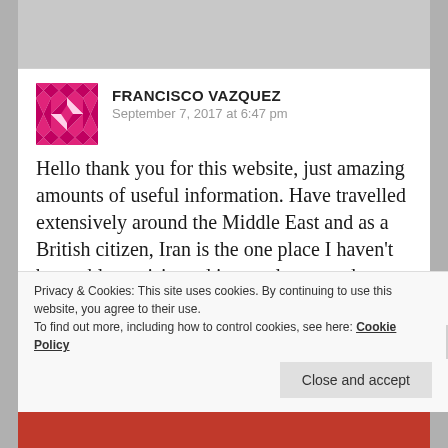[Figure (illustration): User avatar: a pink and white geometric/quilt pattern square icon for Francisco Vazquez]
FRANCISCO VAZQUEZ
September 7, 2017 at 6:47 pm
Hello thank you for this website, just amazing amounts of useful information. Have travelled extensively around the Middle East and as a British citizen, Iran is the one place I haven't been able to visit, and its my dream to do so. Would you be able to...
Privacy & Cookies: This site uses cookies. By continuing to use this website, you agree to their use.
To find out more, including how to control cookies, see here: Cookie Policy
Close and accept